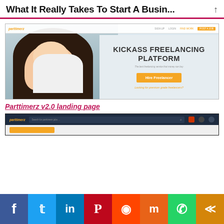What It Really Takes To Start A Busin...
[Figure (screenshot): Screenshot of Parttimerz v2.0 landing page showing a woman holding a tablet on the left, with 'KICKASS FREELANCING PLATFORM' text, 'The best freelancing service that money can buy' subtext, 'Hire Freelancer' orange button, and 'Looking for premium grade freelancers?' link on the right. Navigation bar at top with Parttimerz brand, SIGN UP, LOGIN, FIND WORK, POST A JOB buttons.]
Parttimerz v2.0 landing page
[Figure (screenshot): Screenshot of Parttimerz dark navigation bar with brand logo, search bar reading 'Search for parttimerz jobs...', and icon buttons on the right. Below is a light content area with an orange bar.]